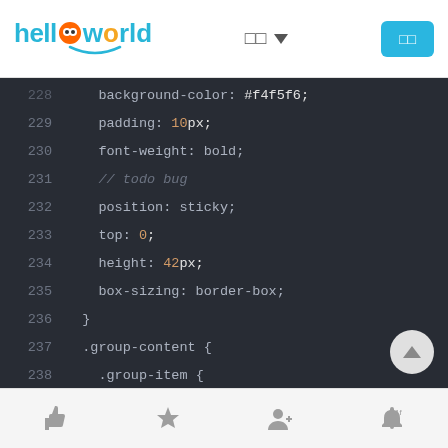helloworld navigation bar with logo and buttons
[Figure (screenshot): Code editor screenshot showing CSS code lines 228-242+ with dark background. Lines show: background-color: #f4f5f6; padding: 10px; font-weight: bold; // todo bug; position: sticky; top: 0; height: 42px; box-sizing: border-box; } .group-content { .group-item { display: flex; align-items: center; justify-content: space-between; padding: 6px 10px;]
Bottom navigation bar with like, star, user, and notification icons